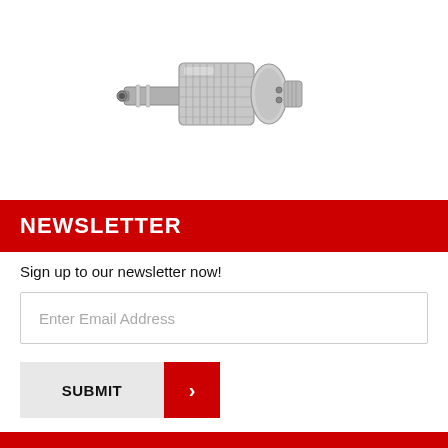[Figure (photo): Silver/chrome angled pneumatic connector fitting — a metal right-angle hose barb quick-connect or push-in fitting with knurled body]
NEWSLETTER
Sign up to our newsletter now!
Enter Email Address
SUBMIT